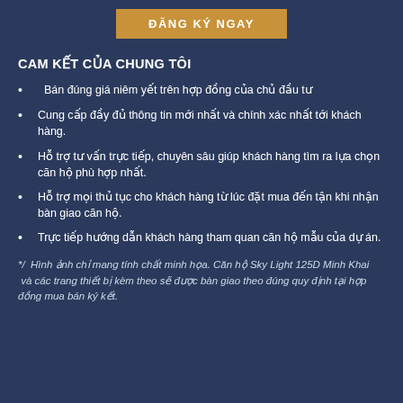[Figure (other): Button with golden/tan background reading ĐĂNG KÝ NGAY in white bold uppercase text]
CAM KẾT CỦA CHUNG TÔI
Bán đúng giá niêm yết trên hợp đồng của chủ đầu tư
Cung cấp đầy đủ thông tin mới nhất và chính xác nhất tới khách hàng.
Hỗ trợ tư vấn trực tiếp, chuyên sâu giúp khách hàng tìm ra lựa chọn căn hộ phù hợp nhất.
Hỗ trợ mọi thủ tục cho khách hàng từ lúc đặt mua đến tận khi nhận bàn giao căn hộ.
Trực tiếp hướng dẫn khách hàng tham quan căn hộ mẫu của dự án.
*/ Hình ảnh chỉ mang tính chất minh họa. Căn hộ Sky Light 125D Minh Khai và các trang thiết bị kèm theo sẽ được bàn giao theo đúng quy định tại hợp đồng mua bán ký kết.